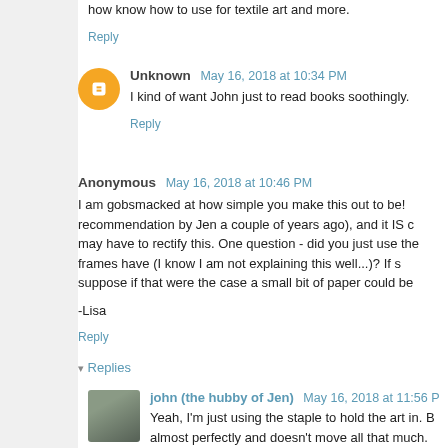how know how to use for textile art and more.
Reply
Unknown  May 16, 2018 at 10:34 PM
I kind of want John just to read books soothingly.
Reply
Anonymous  May 16, 2018 at 10:46 PM
I am gobsmacked at how simple you make this out to be! recommendation by Jen a couple of years ago), and it IS c may have to rectify this. One question - did you just use the frames have (I know I am not explaining this well...)? If s suppose if that were the case a small bit of paper could be
-Lisa
Reply
▾ Replies
john (the hubby of Jen)  May 16, 2018 at 11:56 P
Yeah, I'm just using the staple to hold the art in. B almost perfectly and doesn't move all that much. will almost never move. If you do have some wigg wedge in there and make everything a little tighter.